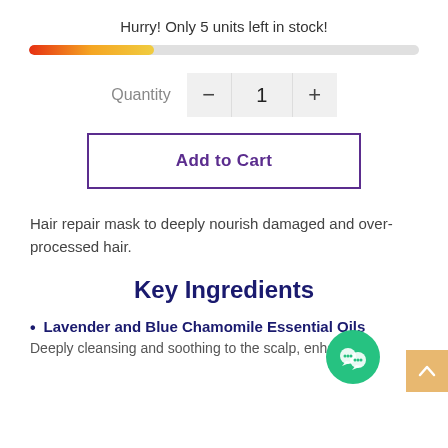Hurry! Only 5 units left in stock!
[Figure (infographic): A horizontal progress bar with gradient fill from red/orange to yellow, approximately 32% filled, on a light gray track.]
[Figure (infographic): Quantity selector with minus button, value showing 1, and plus button on a light gray background.]
[Figure (infographic): Add to Cart button with purple border and purple bold text on white background.]
Hair repair mask to deeply nourish damaged and over-processed hair.
Key Ingredients
Lavender and Blue Chamomile Essential Oils
Deeply cleansing and soothing to the scalp, enhances